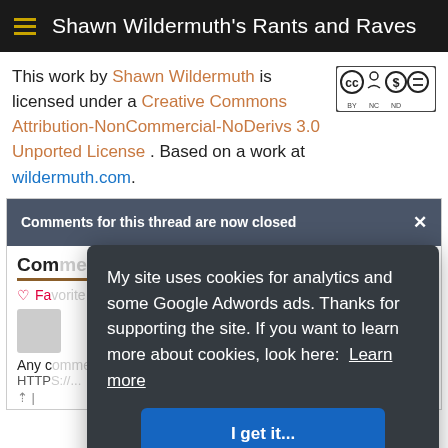Shawn Wildermuth's Rants and Raves
This work by Shawn Wildermuth is licensed under a Creative Commons Attribution-NonCommercial-NoDerivs 3.0 Unported License . Based on a work at wildermuth.com.
[Figure (logo): Creative Commons BY NC ND license badge]
Comments for this thread are now closed
My site uses cookies for analytics and some Google Adwords ads. Thanks for supporting the site. If you want to learn more about cookies, look here: Learn more
I get it...